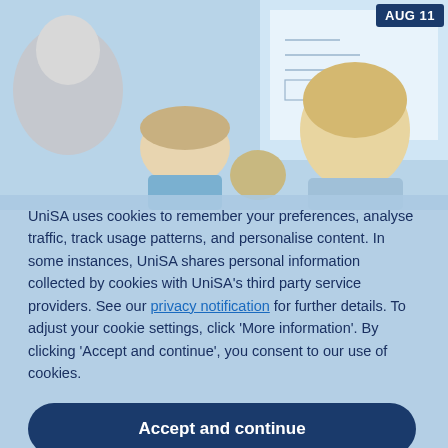[Figure (photo): Children looking at something together in a classroom setting, with a whiteboard visible in the background. A badge reading 'AUG 11' appears in the top-right corner.]
UniSA uses cookies to remember your preferences, analyse traffic, track usage patterns, and personalise content. In some instances, UniSA shares personal information collected by cookies with UniSA's third party service providers. See our privacy notification for further details. To adjust your cookie settings, click 'More information'. By clicking 'Accept and continue', you consent to our use of cookies.
Accept and continue
More information